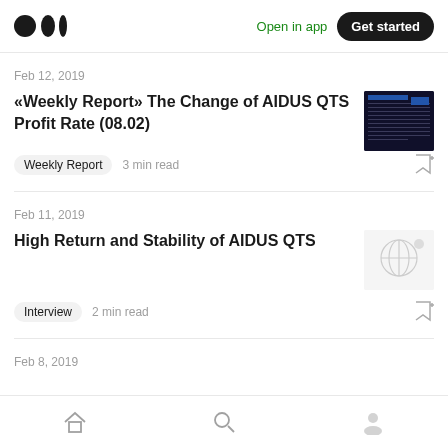Medium app navigation bar with logo, Open in app, Get started
Feb 12, 2019
«Weekly Report» The Change of AIDUS QTS Profit Rate (08.02)
Weekly Report  3 min read
Feb 11, 2019
High Return and Stability of AIDUS QTS
Interview  2 min read
Feb 8, 2019
Home  Search  Profile